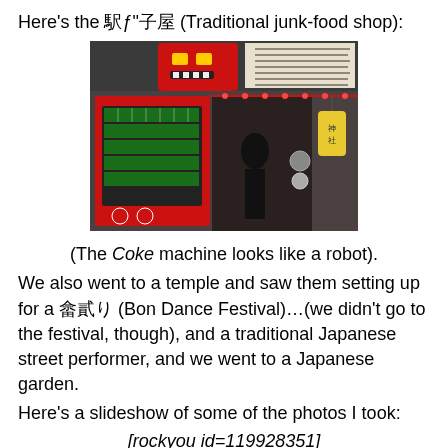Here's the 駄菓子屋 (Traditional junk-food shop):
[Figure (photo): Photo of a traditional Japanese junk-food shop exterior with a red Coca-Cola vending machine that resembles a robot, a dark shop entrance with lanterns, and Japanese signage above.]
(The Coke machine looks like a robot).
We also went to a temple and saw them setting up for a 盆踊り (Bon Dance Festival)…(we didn't go to the festival, though), and a traditional Japanese street performer, and we went to a Japanese garden.
Here's a slideshow of some of the photos I took:
[rockyou id=119928351]